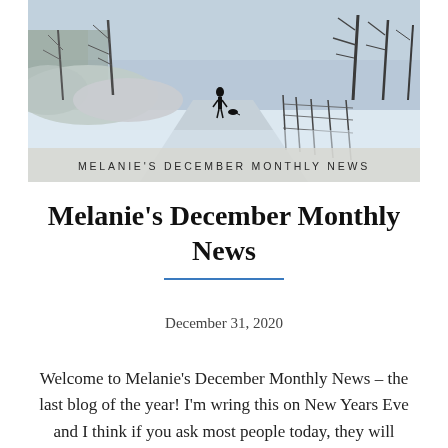[Figure (photo): Winter landscape photo showing a snow-covered country lane with a person walking a dog in the distance, bare frost-covered trees on both sides and a fence on the right, with a banner overlay reading MELANIE'S DECEMBER MONTHLY NEWS]
Melanie's December Monthly News
December 31, 2020
Welcome to Melanie's December Monthly News – the last blog of the year! I'm wring this on New Years Eve and I think if you ask most people today, they will